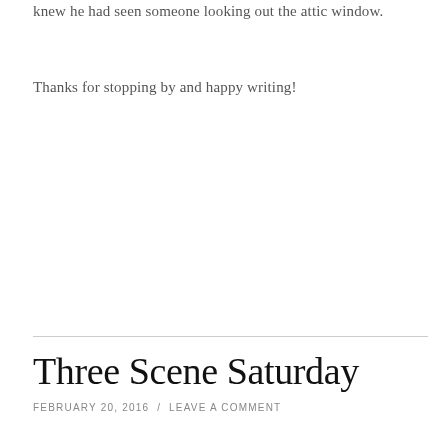knew he had seen someone looking out the attic window.
Thanks for stopping by and happy writing!
Three Scene Saturday
FEBRUARY 20, 2016 / LEAVE A COMMENT